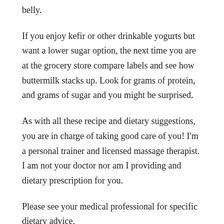belly.
If you enjoy kefir or other drinkable yogurts but want a lower sugar option, the next time you are at the grocery store compare labels and see how buttermilk stacks up. Look for grams of protein, and grams of sugar and you might be surprised.
As with all these recipe and dietary suggestions, you are in charge of taking good care of you! I'm a personal trainer and licensed massage therapist. I am not your doctor nor am I providing and dietary prescription for you.
Please see your medical professional for specific dietary advice.